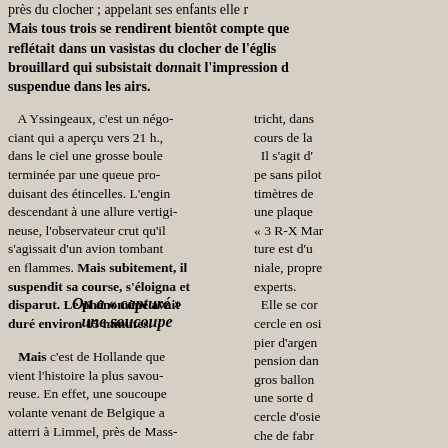près du clocher ; appelant ses enfants elle r... Mais tous trois se rendirent bientôt compte que reflétait dans un vasistas du clocher de l'églis... brouillard qui subsistait donnait l'impression d... suspendue dans les airs.
A Yssingeaux, c'est un négociant qui a aperçu vers 21 h., dans le ciel une grosse boule terminée par une queue produisant des étincelles. L'engin descendant à une allure vertigineuse, l'observateur crut qu'il s'agissait d'un avion tombant en flammes. Mais subitement, il suspendit sa course, s'éloigna et disparut. Le phénomène avait duré environ 15 minutes.
On a « capturé » une soucoupe
Mais c'est de Hollande que vient l'histoire la plus savoureuse. En effet, une soucoupe volante venant de Belgique a atterri à Limmel, près de Maastricht, dans le cours de la...
tricht, dans cours de la Il s'agit d' pe sans pilot timètres de une plaque « 3 R-X Mar... ture est d'u niale, propre experts. Elle se cor cercle en osi pier d'argen pension dan gros ballon une sorte d cercle d'osie che de fabr re la soucou à cet engin tant.